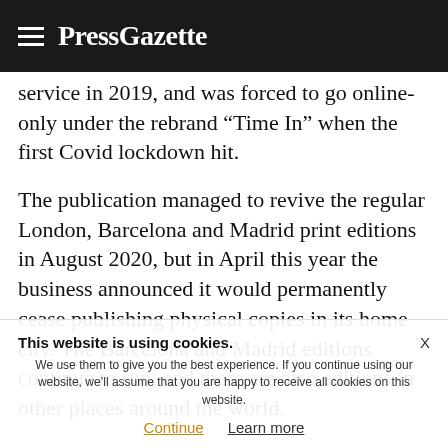PressGazette
service in 2019, and was forced to go online-only under the rebrand “Time In” when the first Covid lockdown hit.
The publication managed to revive the regular London, Barcelona and Madrid print editions in August 2020, but in April this year the business announced it would permanently cease publishing physical copies in its home city. The Barcelona and Madrid editions continue to run, and there are also editions in other places around the world.
This website is using cookies. We use them to give you the best experience. If you continue using our website, we’ll assume that you are happy to receive all cookies on this website. Continue   Learn more